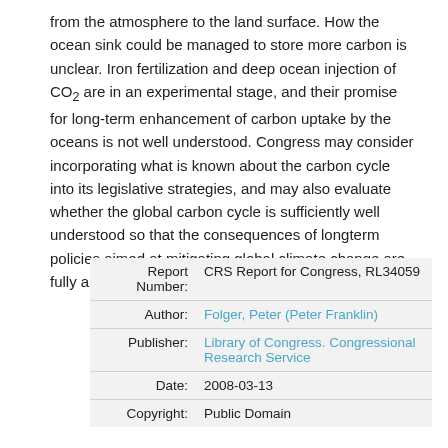from the atmosphere to the land surface. How the ocean sink could be managed to store more carbon is unclear. Iron fertilization and deep ocean injection of CO2 are in an experimental stage, and their promise for long-term enhancement of carbon uptake by the oceans is not well understood. Congress may consider incorporating what is known about the carbon cycle into its legislative strategies, and may also evaluate whether the global carbon cycle is sufficiently well understood so that the consequences of longterm policies aimed at mitigating global climate change are fully appreciated."
| Field | Value |
| --- | --- |
| Report Number: | CRS Report for Congress, RL34059 |
| Author: | Folger, Peter (Peter Franklin) |
| Publisher: | Library of Congress. Congressional Research Service |
| Date: | 2008-03-13 |
| Copyright: | Public Domain |